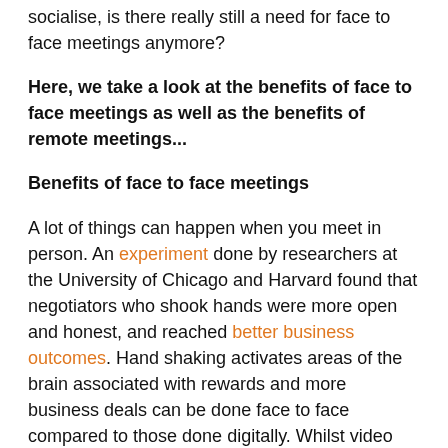socialise, is there really still a need for face to face meetings anymore?
Here, we take a look at the benefits of face to face meetings as well as the benefits of remote meetings...
Benefits of face to face meetings
A lot of things can happen when you meet in person. An experiment done by researchers at the University of Chicago and Harvard found that negotiators who shook hands were more open and honest, and reached better business outcomes. Hand shaking activates areas of the brain associated with rewards and more business deals can be done face to face compared to those done digitally. Whilst video conferencing includes facial interaction , nothing can replace the warmth of a handshake.